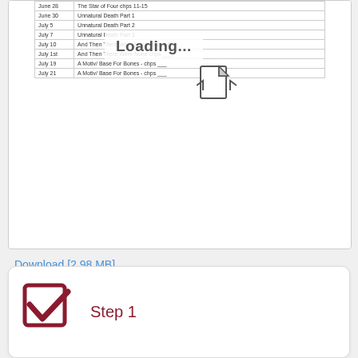[Figure (screenshot): A document viewer card showing a partially visible table with dates and entries, a loading spinner with 'Loading...' text, a 'Taking too long?' prompt with 'Reload document' and 'Open in new tab' links, and a page navigation toolbar showing Page 1 / 2 with zoom controls.]
Download [2.98 MB]
[Figure (illustration): A dark red/maroon checkbox checkmark icon inside a square box outline.]
Step 1